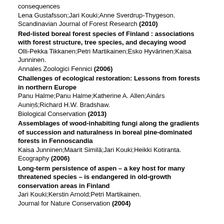consequences
Lena Gustafsson;Jari Kouki;Anne Sverdrup-Thygeson.
Scandinavian Journal of Forest Research (2010)
Red-listed boreal forest species of Finland : associations with forest structure, tree species, and decaying wood
Olli-Pekka Tikkanen;Petri Martikainen;Esko Hyvärinen;Kaisa Junninen.
Annales Zoologici Fennici (2006)
Challenges of ecological restoration: Lessons from forests in northern Europe
Panu Halme;Panu Halme;Katherine A. Allen;Ainārs Auniņš;Richard H.W. Bradshaw.
Biological Conservation (2013)
Assemblages of wood-inhabiting fungi along the gradients of succession and naturalness in boreal pine-dominated forests in Fennoscandia
Kaisa Junninen;Maarit Similä;Jari Kouki;Heikki Kotiranta.
Ecography (2006)
Long-term persistence of aspen – a key host for many threatened species – is endangered in old-growth conservation areas in Finland
Jari Kouki;Kerstin Arnold;Petri Martikainen.
Journal for Nature Conservation (2004)